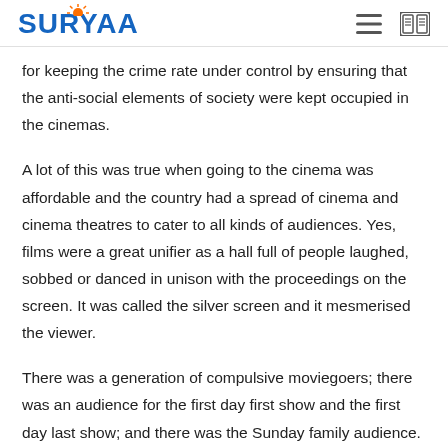SURYAA
for keeping the crime rate under control by ensuring that the anti-social elements of society were kept occupied in the cinemas.
A lot of this was true when going to the cinema was affordable and the country had a spread of cinema and cinema theatres to cater to all kinds of audiences. Yes, films were a great unifier as a hall full of people laughed, sobbed or danced in unison with the proceedings on the screen. It was called the silver screen and it mesmerised the viewer.
There was a generation of compulsive moviegoers; there was an audience for the first day first show and the first day last show; and there was the Sunday family audience. Cinema was called the